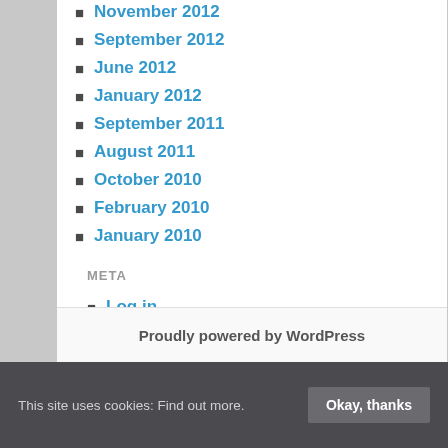November 2012
September 2012
June 2012
January 2012
September 2011
August 2011
October 2010
February 2010
January 2010
META
Log in
Entries feed
Comments feed
WordPress.org
Proudly powered by WordPress
This site uses cookies: Find out more.